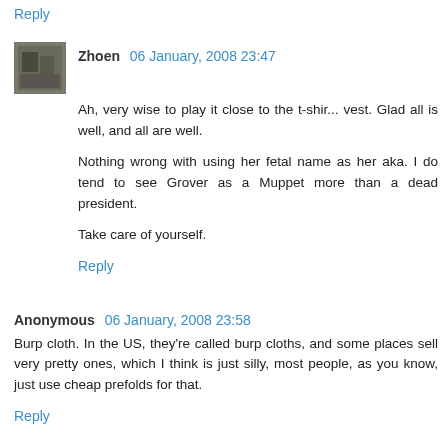Reply
Zhoen 06 January, 2008 23:47
Ah, very wise to play it close to the t-shir... vest. Glad all is well, and all are well.
Nothing wrong with using her fetal name as her aka. I do tend to see Grover as a Muppet more than a dead president.
Take care of yourself.
Reply
Anonymous 06 January, 2008 23:58
Burp cloth. In the US, they're called burp cloths, and some places sell very pretty ones, which I think is just silly, most people, as you know, just use cheap prefolds for that.
Reply